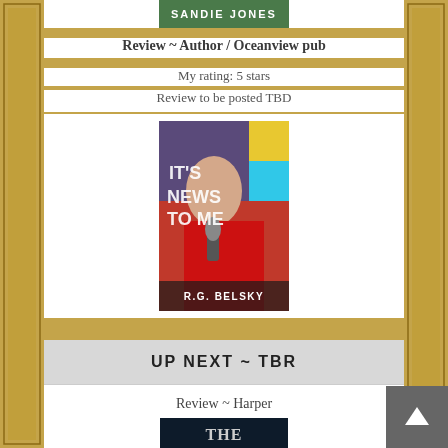[Figure (photo): Partial book cover showing 'Sandie Jones' author name at top]
Review ~ Author / Oceanview pub
My rating: 5 stars
Review to be posted TBD
[Figure (photo): Book cover: 'It's News To Me' by R.G. Belsky, showing woman in red jacket with microphone]
UP NEXT ~ TBR
Review ~ Harper
[Figure (photo): Partial book cover - dark thriller, text 'THE' visible at bottom]